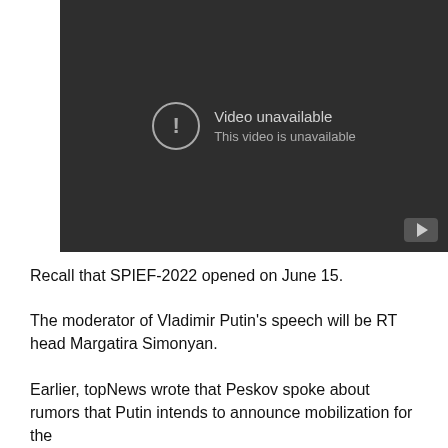[Figure (screenshot): Embedded video player showing 'Video unavailable / This video is unavailable' message on a dark background with a YouTube play button in the bottom-right corner.]
Recall that SPIEF-2022 opened on June 15.
The moderator of Vladimir Putin's speech will be RT head Margatira Simonyan.
Earlier, topNews wrote that Peskov spoke about rumors that Putin intends to announce mobilization for the